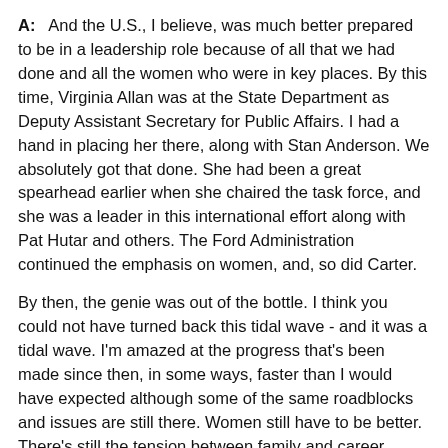A:   And the U.S., I believe, was much better prepared to be in a leadership role because of all that we had done and all the women who were in key places. By this time, Virginia Allan was at the State Department as Deputy Assistant Secretary for Public Affairs. I had a hand in placing her there, along with Stan Anderson. We absolutely got that done. She had been a great spearhead earlier when she chaired the task force, and she was a leader in this international effort along with Pat Hutar and others. The Ford Administration continued the emphasis on women, and, so did Carter.
By then, the genie was out of the bottle. I think you could not have turned back this tidal wave - and it was a tidal wave. I'm amazed at the progress that's been made since then, in some ways, faster than I would have expected although some of the same roadblocks and issues are still there. Women still have to be better. There's still the tension between family and career potential competition, if you want to call it that, where there are dual career spouses. There's still not a consensus about what I would call "leadership style" or "executive style."